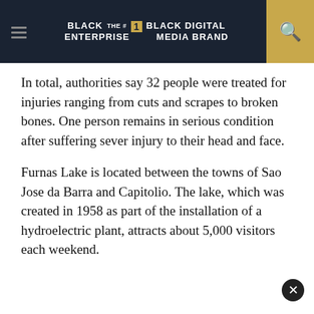BLACK ENTERPRISE — THE #1 BLACK DIGITAL MEDIA BRAND
In total, authorities say 32 people were treated for injuries ranging from cuts and scrapes to broken bones. One person remains in serious condition after suffering sever injury to their head and face.
Furnas Lake is located between the towns of Sao Jose da Barra and Capitolio. The lake, which was created in 1958 as part of the installation of a hydroelectric plant, attracts about 5,000 visitors each weekend.